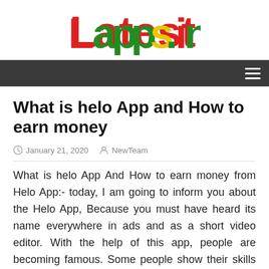[Figure (logo): Latestapps.in logo with colorful letters - red, green and yellow text]
Navigation bar with hamburger menu
What is helo App and How to earn money
January 21, 2020   NewTeam
What is helo App And How to earn money from Helo App:- today, I am going to inform you about the Helo App, Because you must have heard its name everywhere in ads and as a short video editor. With the help of this app, people are becoming famous. Some people show their skills on their talent. And one thing, they are earning a lot of money with the help of Hello App. These apps have become very popular.